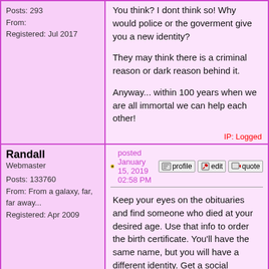Posts: 293
From:
Registered: Jul 2017
You think? I dont think so! Why would police or the goverment give you a new identity?

They may think there is a criminal reason or dark reason behind it.

Anyway... within 100 years when we are all immortal we can help each other!

IP: Logged
Randall
Webmaster
Posts: 133760
From: From a galaxy, far, far away...
Registered: Apr 2009
posted January 15, 2019 02:58 PM
Keep your eyes on the obituaries and find someone who died at your desired age. Use that info to order the birth certificate. You'll have the same name, but you will have a different identity. Get a social security card and driver's license.
IP: Logged
Shulia
Knowflake
Posts: 293
From:
Registered: Jul 2017
posted January 16, 2019 01:52 AM
But what about fingerprints? I guess the fingerprints of everywone are registered in their passport and id.